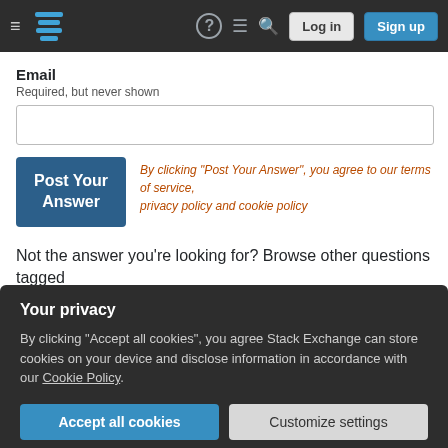Stack Exchange navigation bar with Log in and Sign up buttons
Email
Required, but never shown
Post Your Answer
By clicking "Post Your Answer", you agree to our terms of service, privacy policy and cookie policy
Not the answer you're looking for? Browse other questions tagged probability hypothesis-testing poisson-distribution mathematical-statistics bias or ask your own question.
Your privacy
By clicking "Accept all cookies", you agree Stack Exchange can store cookies on your device and disclose information in accordance with our Cookie Policy.
Accept all cookies
Customize settings